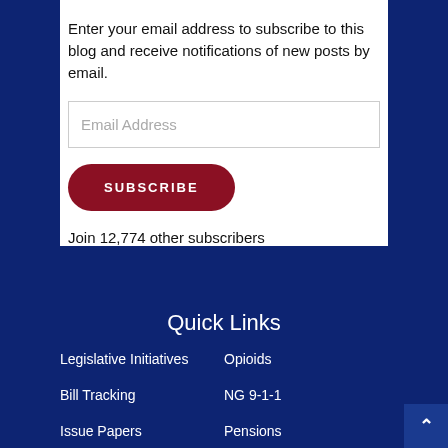Enter your email address to subscribe to this blog and receive notifications of new posts by email.
Email Address
SUBSCRIBE
Join 12,774 other subscribers
Quick Links
Legislative Initiatives
Opioids
Bill Tracking
NG 9-1-1
Issue Papers
Pensions